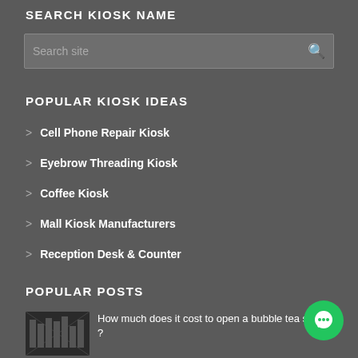SEARCH KIOSK NAME
[Figure (screenshot): Search input box with placeholder text 'Search site' and a magnifying glass icon on the right]
POPULAR KIOSK IDEAS
Cell Phone Repair Kiosk
Eyebrow Threading Kiosk
Coffee Kiosk
Mall Kiosk Manufacturers
Reception Desk & Counter
POPULAR POSTS
How much does it cost to open a bubble tea shop ?